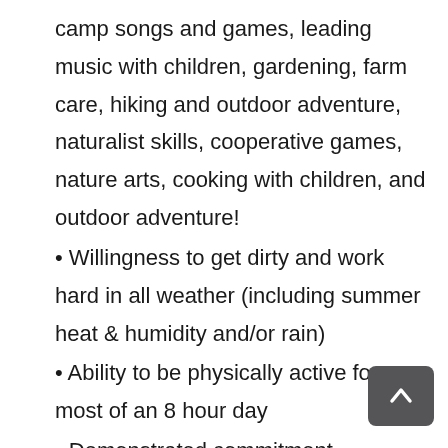camp songs and games, leading music with children, gardening, farm care, hiking and outdoor adventure, naturalist skills, cooperative games, nature arts, cooking with children, and outdoor adventure!
• Willingness to get dirty and work hard in all weather (including summer heat & humidity and/or rain)
• Ability to be physically active for most of an 8 hour day
• Demonstrated commitment, reliability, punctuality, and responsible behavior at previous jobs
• All applicants who love nature and children are welcome and encouraged –